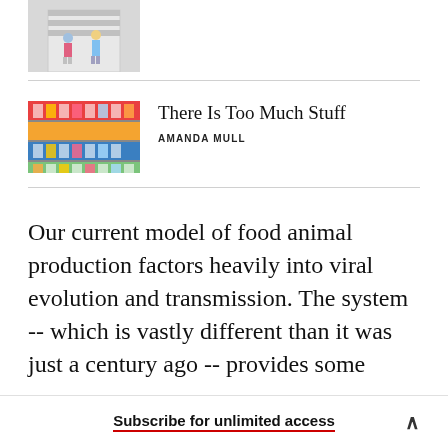[Figure (photo): Partial image of two children standing in front of a garage, cropped at top]
[Figure (photo): Colorful store shelves stocked with consumer products]
There Is Too Much Stuff
AMANDA MULL
Our current model of food animal production factors heavily into viral evolution and transmission. The system -- which is vastly different than it was just a century ago -- provides some
Subscribe for unlimited access